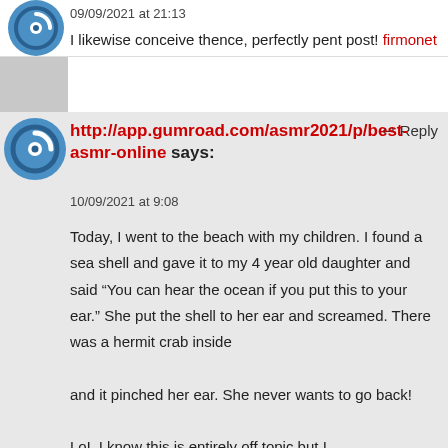09/09/2021 at 21:13
I likewise conceive thence, perfectly pent post! firmonet
↩ Reply
http://app.gumroad.com/asmr2021/p/best-asmr-online says:
10/09/2021 at 9:08
Today, I went to the beach with my children. I found a sea shell and gave it to my 4 year old daughter and said “You can hear the ocean if you put this to your ear.” She put the shell to her ear and screamed. There was a hermit crab inside
and it pinched her ear. She never wants to go back!
LoL I know this is entirely off topic but I